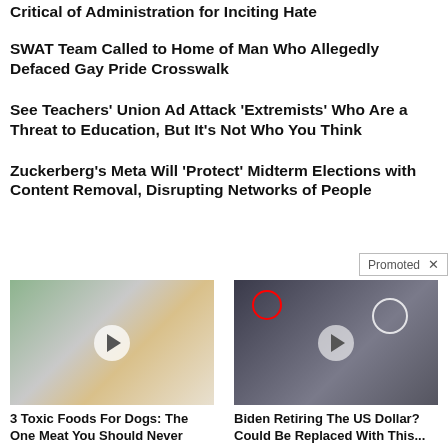Critical of Administration for Inciting Hate
SWAT Team Called to Home of Man Who Allegedly Defaced Gay Pride Crosswalk
See Teachers' Union Ad Attack 'Extremists' Who Are a Threat to Education, But It's Not Who You Think
Zuckerberg's Meta Will 'Protect' Midterm Elections with Content Removal, Disrupting Networks of People
[Figure (photo): Golden retriever dog with raw meat in a plastic tray, with a video play button overlay]
3 Toxic Foods For Dogs: The One Meat You Should Never Feed Your Dog
🔥 5,064
[Figure (photo): Group of men in suits standing on a CIA/government floor seal, with a red circle highlighting one person, and a video play button overlay]
Biden Retiring The US Dollar? Could Be Replaced With This...
🔥 144,132